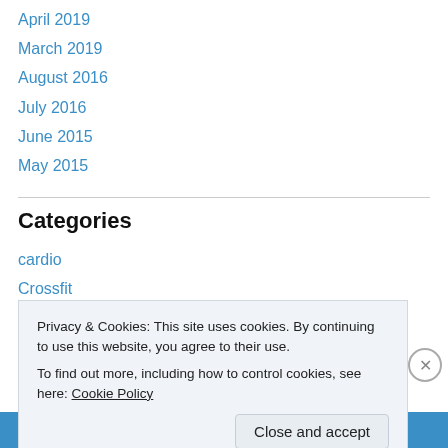April 2019
March 2019
August 2016
July 2016
June 2015
May 2015
Categories
cardio
Crossfit
Fitness
going
Privacy & Cookies: This site uses cookies. By continuing to use this website, you agree to their use.
To find out more, including how to control cookies, see here: Cookie Policy
Close and accept